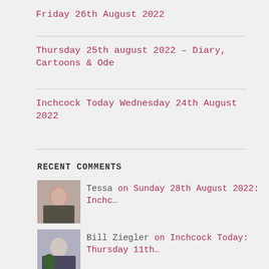Friday 26th August 2022
Thursday 25th august 2022 – Diary, Cartoons & Ode
Inchcock Today Wednesday 24th August 2022
RECENT COMMENTS
Tessa on Sunday 28th August 2022: Inchc…
Bill Ziegler on Inchcock Today: Thursday 11th…
Bill Ziegler on Inchcock Today: Tuesday 2nd Au…